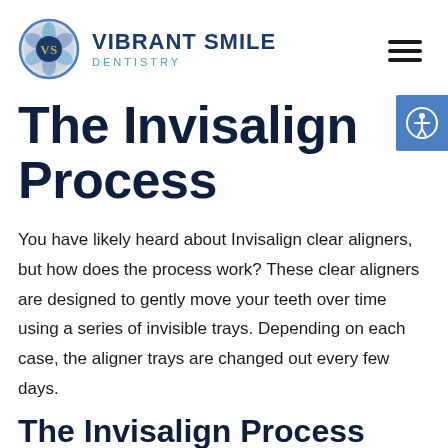[Figure (logo): Vibrant Smile Dentistry logo with circular blue/gold emblem and 'VS' initials, beside the text VIBRANT SMILE DENTISTRY]
[Figure (illustration): Hamburger menu icon (three horizontal bars) in top right]
[Figure (illustration): Blue accessibility icon button on right side with person-in-circle symbol]
The Invisalign Process
You have likely heard about Invisalign clear aligners, but how does the process work? These clear aligners are designed to gently move your teeth over time using a series of invisible trays. Depending on each case, the aligner trays are changed out every few days.
The Invisalign Process